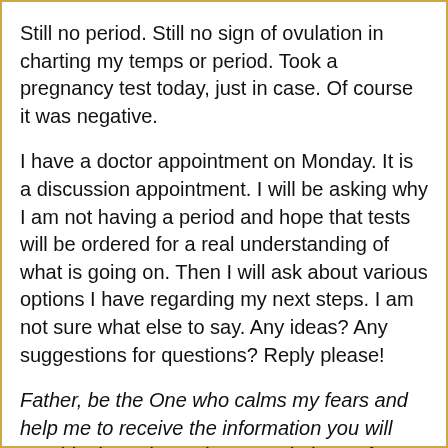Still no period. Still no sign of ovulation in charting my temps or period. Took a pregnancy test today, just in case. Of course it was negative.
I have a doctor appointment on Monday. It is a discussion appointment. I will be asking why I am not having a period and hope that tests will be ordered for a real understanding of what is going on. Then I will ask about various options I have regarding my next steps. I am not sure what else to say. Any ideas? Any suggestions for questions? Reply please!
Father, be the One who calms my fears and help me to receive the information you will provide through my doctor. Help her to focus on me and my situation and not be a stoic clinician. Thank you for your love and grace through these months. I pray that the answer to why I am not ovulating is that it is just not your perfect timing, and NOT a serious disease. I want your will, Lord, and pray for your revelation at your timing. In Jesus' name, Amen... Also, be with my friends who are still grieving their own losses and help them